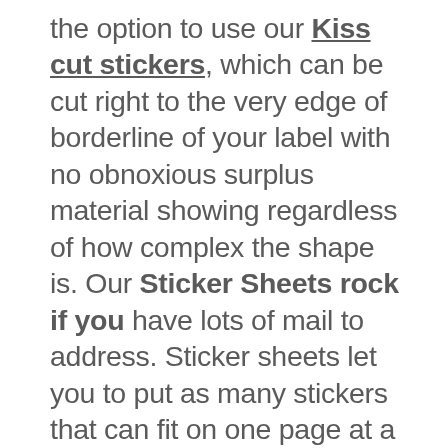the option to use our Kiss cut stickers, which can be cut right to the very edge of borderline of your label with no obnoxious surplus material showing regardless of how complex the shape is. Our Sticker Sheets rock if you have lots of mail to address. Sticker sheets let you to put as many stickers that can fit on one page at a low cost. We can use your existing artwork, or our talented customer service reps can help you design something from scratch. Stickerbeat only uses thick 4 mil graphic vinyl that we know is going to make your sticker look magnificent when your friends, family or clients see your parcel. Plus, we guarantee they will lie down perfectly flat and not bubble. Even if your package or envelope goes through postal machinery, gets wet or faces heat and humidity, we can assure you that your